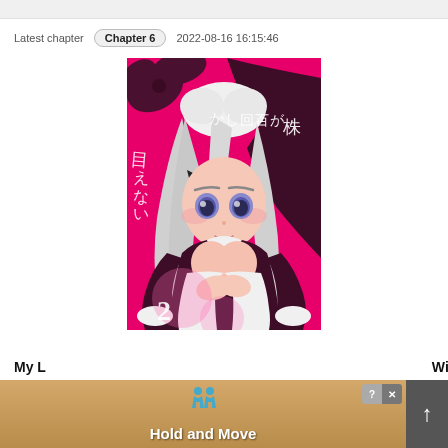Latest chapter   Chapter 6   2022-08-16 16:15:46
[Figure (illustration): Manga cover art showing an anime-style maid character with white/silver hair, wearing a dark maid outfit with white frills, against a hot pink background with Japanese text]
My L...   With
[Figure (screenshot): Advertisement banner for 'Hold and Move' app showing teal stick figure icons on a wooden table background, with close (X) and help (?) buttons in the top right]